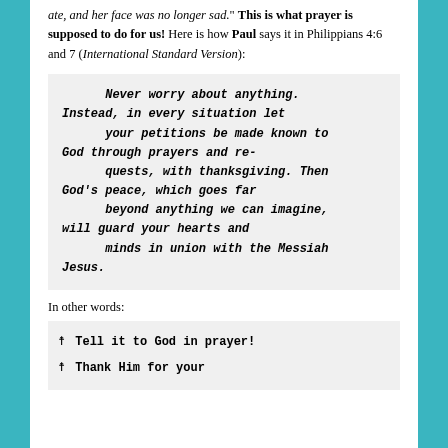ate, and her face was no longer sad." This is what prayer is supposed to do for us! Here is how Paul says it in Philippians 4:6 and 7 (International Standard Version):
Never worry about anything. Instead, in every situation let your petitions be made known to God through prayers and requests, with thanksgiving. Then God's peace, which goes far beyond anything we can imagine, will guard your hearts and minds in union with the Messiah Jesus.
In other words:
Tell it to God in prayer!
Thank Him for your